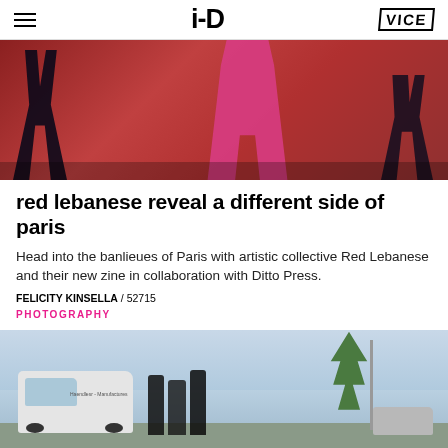i-D / VICE
[Figure (photo): Blurred street photography showing people walking, with red background. Figures in motion including someone in a pink top and black Adidas tracksuit pants.]
red lebanese reveal a different side of paris
Head into the banlieues of Paris with artistic collective Red Lebanese and their new zine in collaboration with Ditto Press.
FELICITY KINSELLA / 52715
PHOTOGRAPHY
[Figure (photo): Outdoor street scene in Paris banlieues. People gathered near a white van, with trees and cars visible in the background under a light blue sky.]